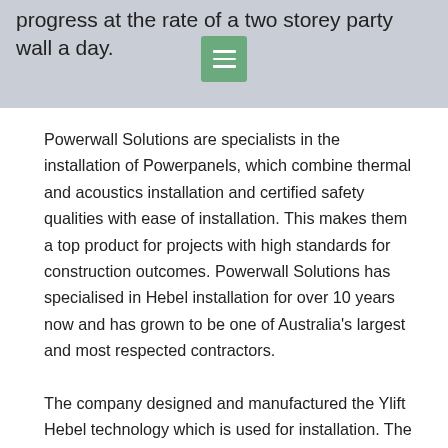progress at the rate of a two storey party wall a day.
Powerwall Solutions are specialists in the installation of Powerpanels, which combine thermal and acoustics installation and certified safety qualities with ease of installation. This makes them a top product for projects with high standards for construction outcomes. Powerwall Solutions has specialised in Hebel installation for over 10 years now and has grown to be one of Australia's largest and most respected contractors.
The company designed and manufactured the Ylift Hebel technology which is used for installation. The Ylift has been safely tested and certified to a lifting height of 13 metres, and eliminates many OH&S issues, while also increasing speed and efficiency. This adds up to reduced costs in both time and labour for the builder, especially on